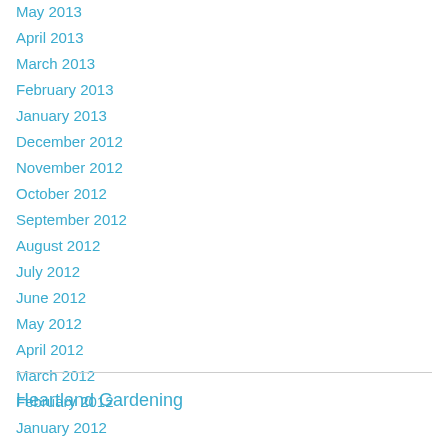May 2013
April 2013
March 2013
February 2013
January 2013
December 2012
November 2012
October 2012
September 2012
August 2012
July 2012
June 2012
May 2012
April 2012
March 2012
February 2012
January 2012
Heartland Gardening